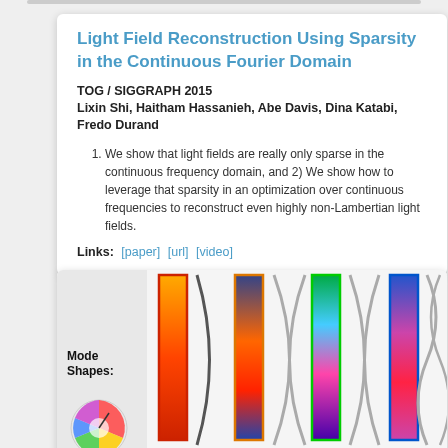Light Field Reconstruction Using Sparsity in the Continuous Fourier Domain
TOG / SIGGRAPH 2015
Lixin Shi, Haitham Hassanieh, Abe Davis, Dina Katabi, Fredo Durand
We show that light fields are really only sparse in the continuous frequency domain, and 2) We show how to leverage that sparsity in an optimization over continuous frequencies to reconstruct even highly non-Lambertian light fields.
Links: [paper] [url] [video]
[Figure (illustration): Mode Shapes illustration showing colored vertical bars with sinusoidal wave patterns alongside them, labeled 'Mode Shapes:' with a color wheel at the bottom left.]